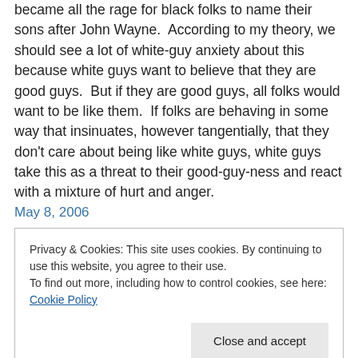became all the rage for black folks to name their sons after John Wayne. According to my theory, we should see a lot of white-guy anxiety about this because white guys want to believe that they are good guys. But if they are good guys, all folks would want to be like them. If folks are behaving in some way that insinuates, however tangentially, that they don't care about being like white guys, white guys take this as a threat to their good-guy-ness and react with a mixture of hurt and anger.
May 8, 2006
Privacy & Cookies: This site uses cookies. By continuing to use this website, you agree to their use. To find out more, including how to control cookies, see here: Cookie Policy